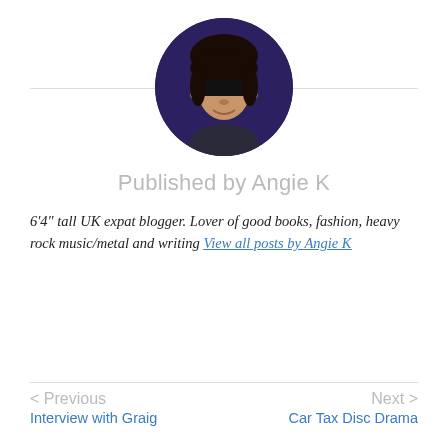[Figure (photo): Circular profile photo of Angie K, a person with dark hair and sunglasses, against a dark purple background]
Published by Angie K
6'4" tall UK expat blogger. Lover of good books, fashion, heavy rock music/metal and writing View all posts by Angie K
< Previous
Interview with Graig
Next >
Car Tax Disc Drama